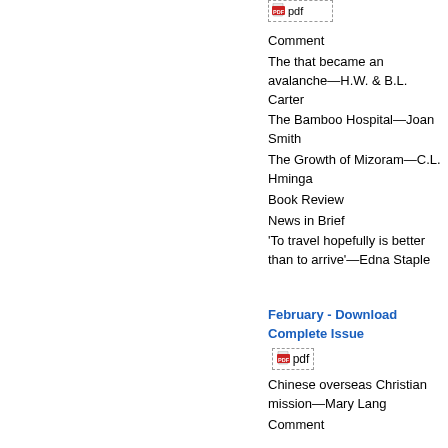[Figure (other): PDF download icon with dashed border at top]
Comment
The that became an avalanche—H.W. & B.L. Carter
The Bamboo Hospital—Joan Smith
The Growth of Mizoram—C.L. Hminga
Book Review
News in Brief
'To travel hopefully is better than to arrive'—Edna Staple
February - Download Complete Issue
[Figure (other): PDF download icon badge with dashed border]
Chinese overseas Christian mission—Mary Lang
Comment